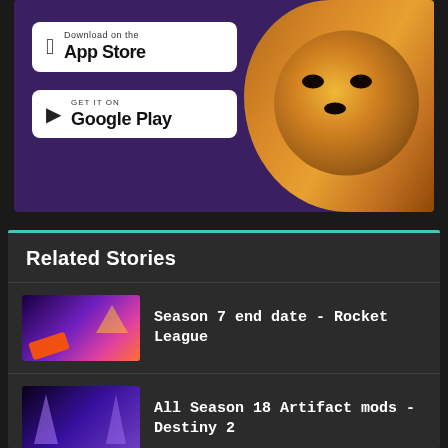[Figure (screenshot): App store advertisement banner with Download on the App Store and GET IT ON Google Play buttons, with a Pomeranian dog photo on the right side, purple background]
Related Stories
[Figure (screenshot): Thumbnail image for Rocket League Season 7 article, colorful neon game art]
Season 7 end date - Rocket League
[Figure (screenshot): Thumbnail image for Destiny 2 Season 18 Artifact mods article, purple tones with character silhouettes]
All Season 18 Artifact mods - Destiny 2
[Figure (logo): Sunsoft logo on white background]
Watch the Sunsoft August 2022 livestream here